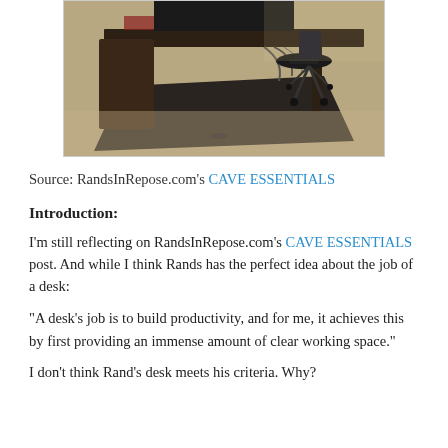[Figure (photo): Office desk setup with dark wood desk, office chair, black floor mat on beige carpet, cables visible]
Source: RandsInRepose.com's CAVE ESSENTIALS
Introduction:
I'm still reflecting on RandsInRepose.com's CAVE ESSENTIALS post. And while I think Rands has the perfect idea about the job of a desk:
“A desk’s job is to build productivity, and for me, it achieves this by first providing an immense amount of clear working space.”
I don’t think Rand’s desk meets his criteria. Why?